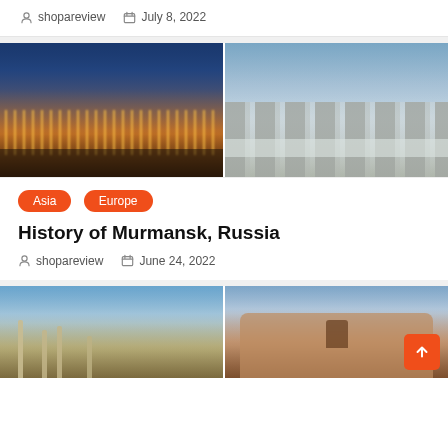shopareview   July 8, 2022
[Figure (photo): Left: aerial view of industrial port at dusk/night with orange lights reflecting on water. Right: snow-covered buildings and bare trees in a cold, wintry scene.]
Asia
Europe
History of Murmansk, Russia
shopareview   June 24, 2022
[Figure (photo): Left: ancient Roman ruins with columns under blue sky. Right: Petra monastery facade carved in rose-red rock.]